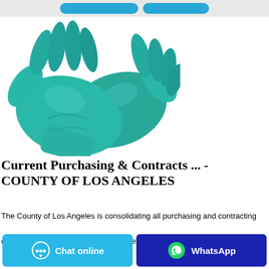[Figure (photo): Two teal/turquoise nitrile disposable gloves on a white background]
Current Purchasing & Contracts ... - COUNTY OF LOS ANGELES
The County of Los Angeles is consolidating all purchasing and contracting opportunities into a single website. The County purchases millions of…
[Figure (infographic): Chat online button (light blue with chat bubble icon) and WhatsApp button (dark blue with WhatsApp icon)]